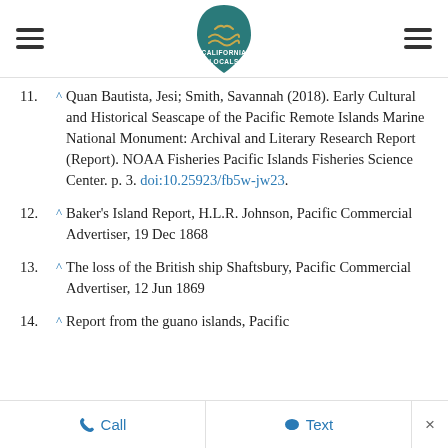California Locals (logo)
11. ^ Quan Bautista, Jesi; Smith, Savannah (2018). Early Cultural and Historical Seascape of the Pacific Remote Islands Marine National Monument: Archival and Literary Research Report (Report). NOAA Fisheries Pacific Islands Fisheries Science Center. p. 3. doi:10.25923/fb5w-jw23.
12. ^ Baker's Island Report, H.L.R. Johnson, Pacific Commercial Advertiser, 19 Dec 1868
13. ^ The loss of the British ship Shaftsbury, Pacific Commercial Advertiser, 12 Jun 1869
14. ^ Report from the guano islands, Pacific
Call  Text  ×